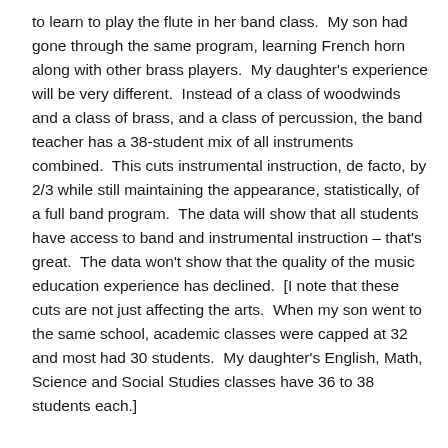to learn to play the flute in her band class.  My son had gone through the same program, learning French horn along with other brass players.  My daughter's experience will be very different.  Instead of a class of woodwinds and a class of brass, and a class of percussion, the band teacher has a 38-student mix of all instruments combined.  This cuts instrumental instruction, de facto, by 2/3 while still maintaining the appearance, statistically, of a full band program.  The data will show that all students have access to band and instrumental instruction – that's great.  The data won't show that the quality of the music education experience has declined.  [I note that these cuts are not just affecting the arts.  When my son went to the same school, academic classes were capped at 32 and most had 30 students.  My daughter's English, Math, Science and Social Studies classes have 36 to 38 students each.]